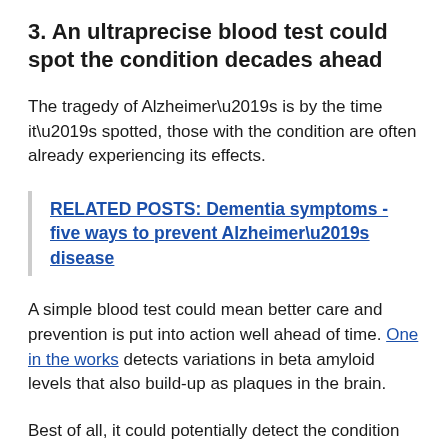3.  An ultraprecise blood test could spot the condition decades ahead
The tragedy of Alzheimer’s is by the time it’s spotted, those with the condition are often already experiencing its effects.
RELATED POSTS:  Dementia symptoms - five ways to prevent Alzheimer’s disease
A simple blood test could mean better care and prevention is put into action well ahead of time. One in the works detects variations in beta amyloid levels that also build-up as plaques in the brain.
Best of all, it could potentially detect the condition 30